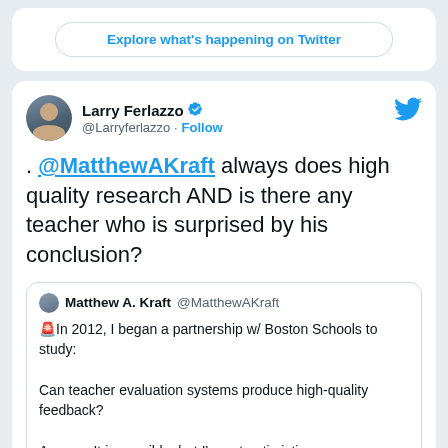Explore what's happening on Twitter
Larry Ferlazzo @Larryferlazzo · Follow
. @MatthewAKraft always does high quality research AND is there any teacher who is surprised by his conclusion?
Matthew A. Kraft @MatthewAKraft 🚨In 2012, I began a partnership w/ Boston Schools to study: Can teacher evaluation systems produce high-quality feedback? Answer: It is possible, but I'm not optimistic